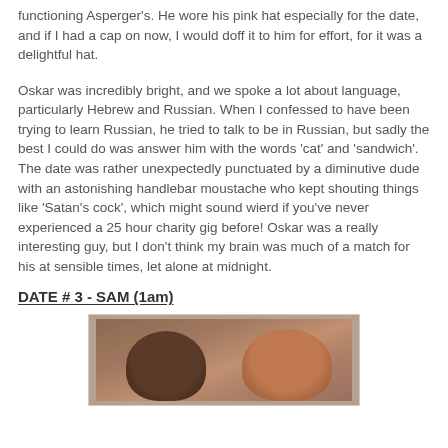functioning Asperger's. He wore his pink hat especially for the date, and if I had a cap on now, I would doff it to him for effort, for it was a delightful hat.
Oskar was incredibly bright, and we spoke a lot about language, particularly Hebrew and Russian. When I confessed to have been trying to learn Russian, he tried to talk to be in Russian, but sadly the best I could do was answer him with the words 'cat' and 'sandwich'. The date was rather unexpectedly punctuated by a diminutive dude with an astonishing handlebar moustache who kept shouting things like 'Satan's cock', which might sound wierd if you've never experienced a 25 hour charity gig before! Oskar was a really interesting guy, but I don't think my brain was much of a match for his at sensible times, let alone at midnight.
DATE # 3 - SAM (1am)
[Figure (photo): Photo showing the backs of two people's heads close together, one with dark brown hair and one with lighter reddish-brown hair]